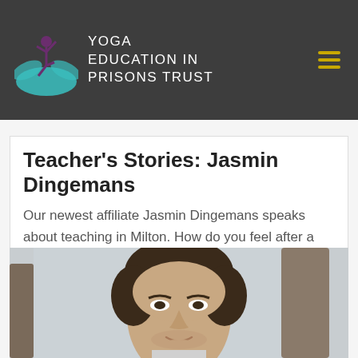YOGA EDUCATION IN PRISONS TRUST
Teacher's Stories: Jasmin Dingemans
Our newest affiliate Jasmin Dingemans speaks about teaching in Milton. How do you feel after a class? Energised and inspired.
[Figure (photo): Portrait photo of a man with dark curly hair, smiling slightly, with trees in the background (blurred). Outdoor setting.]